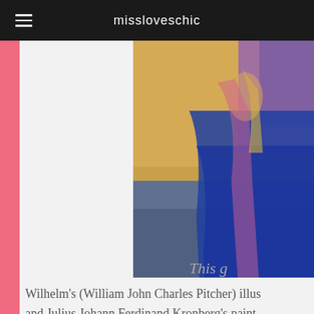missloveschic
[Figure (illustration): A painting showing a figure in a blue flowing gown/dress near what appears to be water or a beach, with warm golden and purple tones in the background. Partial view cropped on right side of page.]
This g
Wilhelm's (William John Charles Pitcher) illus and Julius Johann Ferdinand Kronberg's paint